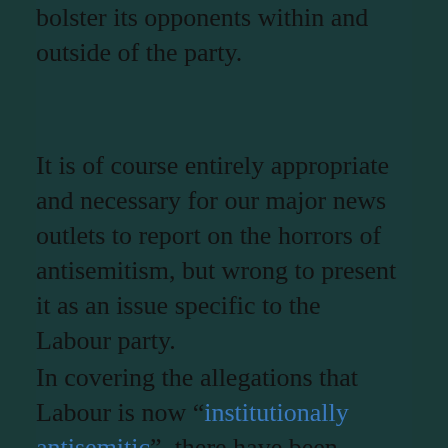bolster its opponents within and outside of the party.
It is of course entirely appropriate and necessary for our major news outlets to report on the horrors of antisemitism, but wrong to present it as an issue specific to the Labour party.
In covering the allegations that Labour is now “institutionally antisemitic”, there have been inaccuracies, clear distortions and revealing omissions across our most popular media platforms. We believe that significant parts of the UK media have